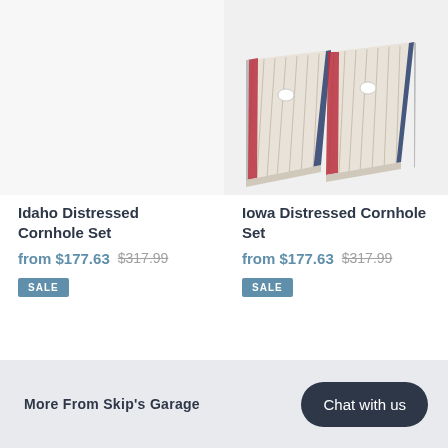[Figure (photo): Iowa Distressed Cornhole Set product image — two wooden cornhole boards with distressed American flag design, navy blue and red stripes with white, shown at an angle]
Idaho Distressed Cornhole Set
from $177.63  $317.99
SALE
Iowa Distressed Cornhole Set
from $177.63  $317.99
SALE
More From Skip's Garage
Chat with us